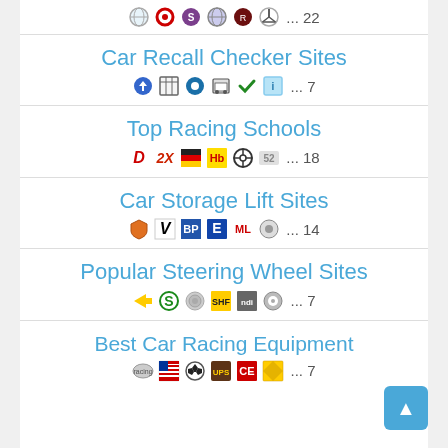[Figure (other): Row of website favicons/icons with count '... 22']
Car Recall Checker Sites
[Figure (other): Row of website favicons/icons with count '... 7']
Top Racing Schools
[Figure (other): Row of website favicons/icons with count '... 18']
Car Storage Lift Sites
[Figure (other): Row of website favicons/icons with count '... 14']
Popular Steering Wheel Sites
[Figure (other): Row of website favicons/icons with count '... 7']
Best Car Racing Equipment
[Figure (other): Row of website favicons/icons with count '... 7']